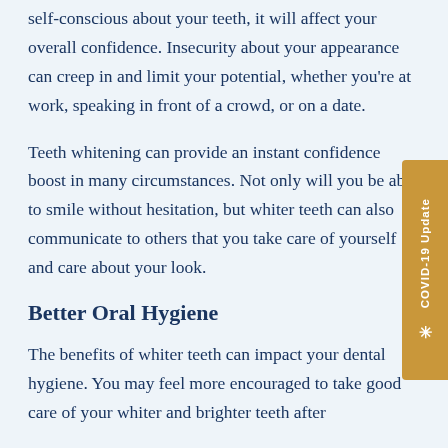self-conscious about your teeth, it will affect your overall confidence. Insecurity about your appearance can creep in and limit your potential, whether you're at work, speaking in front of a crowd, or on a date.
Teeth whitening can provide an instant confidence boost in many circumstances. Not only will you be able to smile without hesitation, but whiter teeth can also communicate to others that you take care of yourself and care about your look.
Better Oral Hygiene
The benefits of whiter teeth can impact your dental hygiene. You may feel more encouraged to take good care of your whiter and brighter teeth after